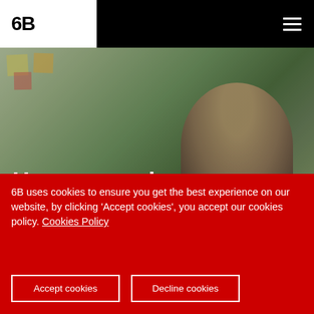6B
[Figure (photo): Hero image showing a person in a workspace with sticky notes and a whiteboard, with the title 'User research' overlaid in white text]
User research
6B uses cookies to ensure you get the best experience on our website, by clicking 'Accept cookies', you accept our cookies policy. Cookies Policy
Accept cookies
Decline cookies